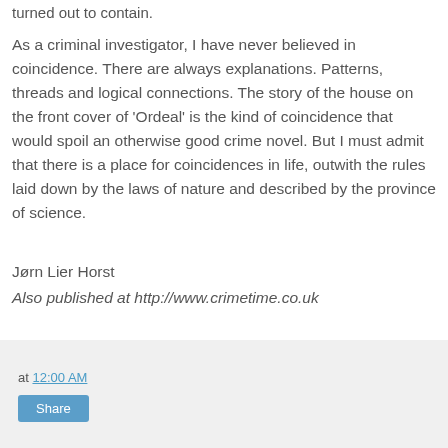turned out to contain.
As a criminal investigator, I have never believed in coincidence. There are always explanations. Patterns, threads and logical connections. The story of the house on the front cover of 'Ordeal' is the kind of coincidence that would spoil an otherwise good crime novel. But I must admit that there is a place for coincidences in life, outwith the rules laid down by the laws of nature and described by the province of science.
Jørn Lier Horst
Also published at http://www.crimetime.co.uk
at 12:00 AM
Share